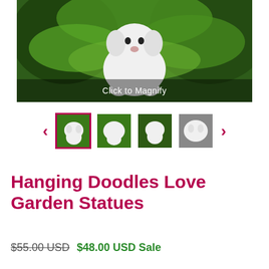[Figure (photo): Close-up photo of a white fluffy dog (doodle breed) garden statue with green leaf/plant decorations, with a 'Click to Magnify' overlay at the bottom]
[Figure (photo): Thumbnail carousel showing 4 small images of the garden statue product from different angles, with left and right navigation arrows. First thumbnail is selected with a pink/magenta border.]
Hanging Doodles Love Garden Statues
$55.00 USD $48.00 USD Sale